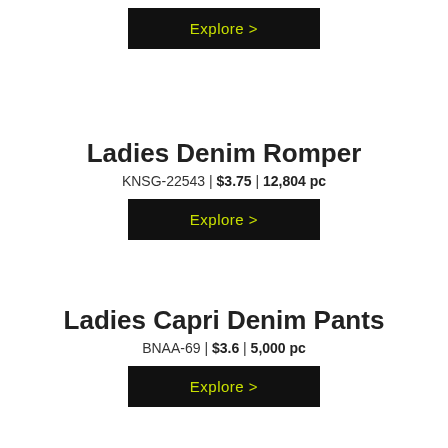[Figure (other): Black Explore button at top of page]
Ladies Denim Romper
KNSG-22543 | $3.75 | 12,804 pc
[Figure (other): Black Explore button for Ladies Denim Romper]
Ladies Capri Denim Pants
BNAA-69 | $3.6 | 5,000 pc
[Figure (other): Black Explore button for Ladies Capri Denim Pants]